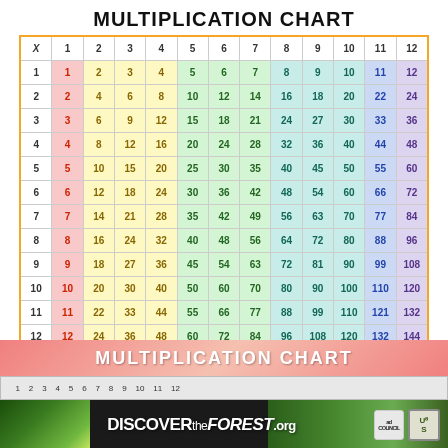MULTIPLICATION CHART
| X | 1 | 2 | 3 | 4 | 5 | 6 | 7 | 8 | 9 | 10 | 11 | 12 |
| --- | --- | --- | --- | --- | --- | --- | --- | --- | --- | --- | --- | --- |
| 1 | 1 | 2 | 3 | 4 | 5 | 6 | 7 | 8 | 9 | 10 | 11 | 12 |
| 2 | 2 | 4 | 6 | 8 | 10 | 12 | 14 | 16 | 18 | 20 | 22 | 24 |
| 3 | 3 | 6 | 9 | 12 | 15 | 18 | 21 | 24 | 27 | 30 | 33 | 36 |
| 4 | 4 | 8 | 12 | 16 | 20 | 24 | 28 | 32 | 36 | 40 | 44 | 48 |
| 5 | 5 | 10 | 15 | 20 | 25 | 30 | 35 | 40 | 45 | 50 | 55 | 60 |
| 6 | 6 | 12 | 18 | 24 | 30 | 36 | 42 | 48 | 54 | 60 | 66 | 72 |
| 7 | 7 | 14 | 21 | 28 | 35 | 42 | 49 | 56 | 63 | 70 | 77 | 84 |
| 8 | 8 | 16 | 24 | 32 | 40 | 48 | 56 | 64 | 72 | 80 | 88 | 96 |
| 9 | 9 | 18 | 27 | 36 | 45 | 54 | 63 | 72 | 81 | 90 | 99 | 108 |
| 10 | 10 | 20 | 30 | 40 | 50 | 60 | 70 | 80 | 90 | 100 | 110 | 120 |
| 11 | 11 | 22 | 33 | 44 | 55 | 66 | 77 | 88 | 99 | 110 | 121 | 132 |
| 12 | 12 | 24 | 36 | 48 | 60 | 72 | 84 | 96 | 108 | 120 | 132 | 144 |
World of Printables® — 1000's of free printables to help make kids education fun and engaging
MULTIPLICATION CHART
[Figure (illustration): DiscovertheForest.org advertisement banner with forest background, colorful flowers, ad council logo and USDA Forest Service logo]